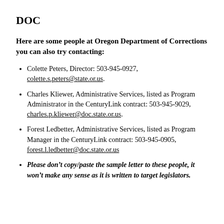DOC
Here are some people at Oregon Department of Corrections you can also try contacting:
Colette Peters, Director: 503-945-0927, colette.s.peters@state.or.us.
Charles Kliewer, Administrative Services, listed as Program Administrator in the CenturyLink contract: 503-945-9029, charles.p.kliewer@doc.state.or.us.
Forest Ledbetter, Administrative Services, listed as Program Manager in the CenturyLink contract: 503-945-0905, forest.l.ledbetter@doc.state.or.us
Please don't copy/paste the sample letter to these people, it won't make any sense as it is written to target legislators.